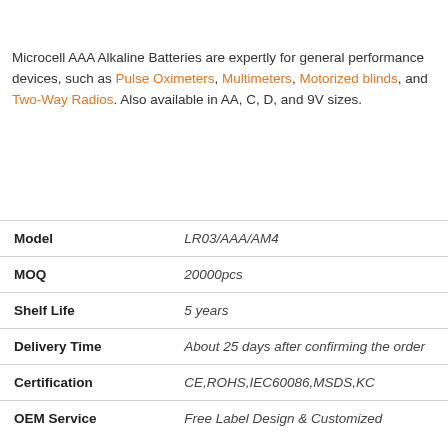Microcell AAA Alkaline Batteries are expertly for general performance devices, such as Pulse Oximeters, Multimeters, Motorized blinds, and Two-Way Radios. Also available in AA, C, D, and 9V sizes.
|  |  |
| --- | --- |
| Model | LR03/AAA/AM4 |
| MOQ | 20000pcs |
| Shelf Life | 5 years |
| Delivery Time | About 25 days after confirming the order |
| Certification | CE,ROHS,IEC60086,MSDS,KC |
| OEM Service | Free Label Design & Customized |